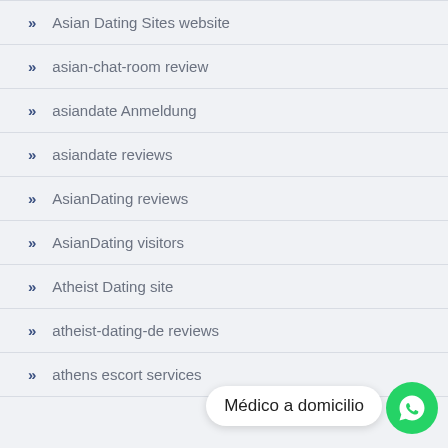Asian Dating Sites website
asian-chat-room review
asiandate Anmeldung
asiandate reviews
AsianDating reviews
AsianDating visitors
Atheist Dating site
atheist-dating-de reviews
athens escort services
Médico a domicilio